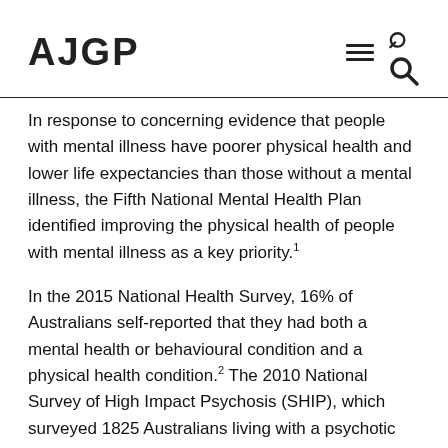AJGP
In response to concerning evidence that people with mental illness have poorer physical health and lower life expectancies than those without a mental illness, the Fifth National Mental Health Plan identified improving the physical health of people with mental illness as a key priority.1
In the 2015 National Health Survey, 16% of Australians self-reported that they had both a mental health or behavioural condition and a physical health condition.2 The 2010 National Survey of High Impact Psychosis (SHIP), which surveyed 1825 Australians living with a psychotic illness on a range of topics including their physical health and health service use, reported higher rates of chronic physical illness and biomedical risk